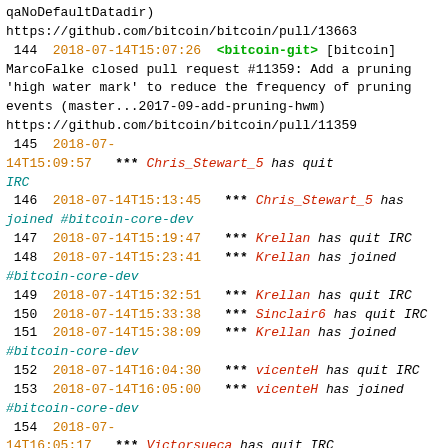qaNoDefaultDatadir)
https://github.com/bitcoin/bitcoin/pull/13663
144  2018-07-14T15:07:26  <bitcoin-git> [bitcoin] MarcoFalke closed pull request #11359: Add a pruning 'high water mark' to reduce the frequency of pruning events (master...2017-09-add-pruning-hwm)
https://github.com/bitcoin/bitcoin/pull/11359
145  2018-07-14T15:09:57  *** Chris_Stewart_5 has quit IRC
146  2018-07-14T15:13:45  *** Chris_Stewart_5 has joined #bitcoin-core-dev
147  2018-07-14T15:19:47  *** Krellan has quit IRC
148  2018-07-14T15:23:41  *** Krellan has joined #bitcoin-core-dev
149  2018-07-14T15:32:51  *** Krellan has quit IRC
150  2018-07-14T15:33:38  *** Sinclair6 has quit IRC
151  2018-07-14T15:38:09  *** Krellan has joined #bitcoin-core-dev
152  2018-07-14T16:04:30  *** vicenteH has quit IRC
153  2018-07-14T16:05:00  *** vicenteH has joined #bitcoin-core-dev
154  2018-07-14T16:05:17  *** Victorsueca has quit IRC
155  2018-07-14T16:06:27  *** Victorsueca has joined #bitcoin-core-dev
156  2018-07-14T16:22:49  *** ExtraCrispy has quit IRC
157  2018-07-14T16:54:01  *** zautomata has quit IRC
158  2018-07-14T16:54:01  *** zautomata has joined #bitcoin-core-dev